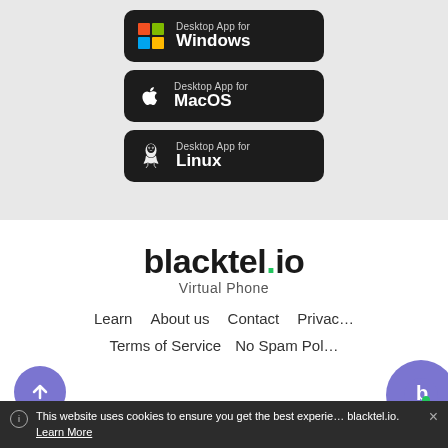[Figure (screenshot): Desktop App for Windows download button with colorful Windows logo on dark background]
[Figure (screenshot): Desktop App for MacOS download button with Apple logo on dark background]
[Figure (screenshot): Desktop App for Linux download button with Tux penguin logo on dark background]
blacktel.io
Virtual Phone
Learn   About us   Contact   Privacy
Terms of Service   No Spam Pol…
This website uses cookies to ensure you get the best experie… blacktel.io. Learn More